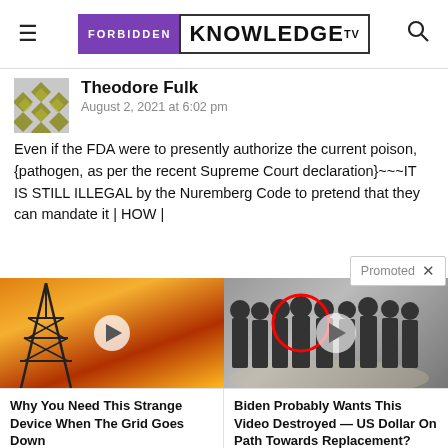FORBIDDEN KNOWLEDGE TV
Theodore Fulk
August 2, 2021 at 6:02 pm
Even if the FDA were to presently authorize the current poison, {pathogen, as per the recent Supreme Court declaration}~~~IT IS STILL ILLEGAL by the Nuremberg Code to pretend that they can mandate it | HOW |
Promoted
[Figure (photo): Video thumbnail showing electrical tower/pylon against orange sunset sky with play button overlay]
[Figure (photo): Video thumbnail showing group of men in suits at CIA headquarters with one person circled in red, play button overlay]
Why You Need This Strange Device When The Grid Goes Down
Watch The Video
Biden Probably Wants This Video Destroyed — US Dollar On Path Towards Replacement?
Watch The Video